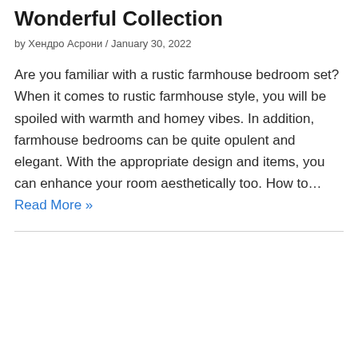Wonderful Collection
by Хендро Асрони / January 30, 2022
Are you familiar with a rustic farmhouse bedroom set? When it comes to rustic farmhouse style, you will be spoiled with warmth and homey vibes. In addition, farmhouse bedrooms can be quite opulent and elegant. With the appropriate design and items, you can enhance your room aesthetically too. How to… Read More »